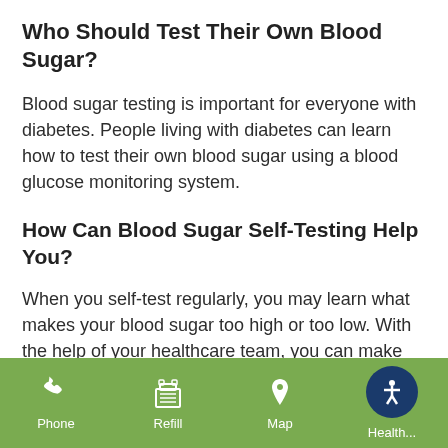Who Should Test Their Own Blood Sugar?
Blood sugar testing is important for everyone with diabetes. People living with diabetes can learn how to test their own blood sugar using a blood glucose monitoring system.
How Can Blood Sugar Self-Testing Help You?
When you self-test regularly, you may learn what makes your blood sugar too high or too low. With the help of your healthcare team, you can make adjustments to your medications and...
Phone | Refill | Map | Health...